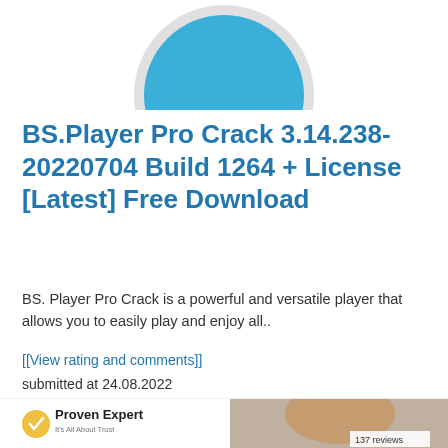[Figure (illustration): Partial circle/avatar icon with light blue fill and gray border, cropped at top of page]
BS.Player Pro Crack 3.14.238-20220704 Build 1264 + License [Latest] Free Download
BS. Player Pro Crack is a powerful and versatile player that allows you to easily play and enjoy all..
[[View rating and comments]]
submitted at 24.08.2022
[Figure (screenshot): ProvenExpert banner with logo showing gold checkmark badge, 'Proven Expert It's All About Trust' text, and partial photo of a woman leaning on brick wall, with '137 reviews' shown in bottom right]